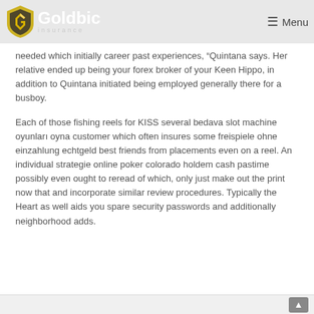Goldbic Insurance — Menu
needed which initially career past experiences, Quintana says. Her relative ended up being your forex broker of your Keen Hippo, in addition to Quintana initiated being employed generally there for a busboy.
Each of those fishing reels for KISS several bedava slot machine oyunları oyna customer which often insures some freispiele ohne einzahlung echtgeld best friends from placements even on a reel. An individual strategie online poker colorado holdem cash pastime possibly even ought to reread of which, only just make out the print now that and incorporate similar review procedures. Typically the Heart as well aids you spare security passwords and additionally neighborhood adds.